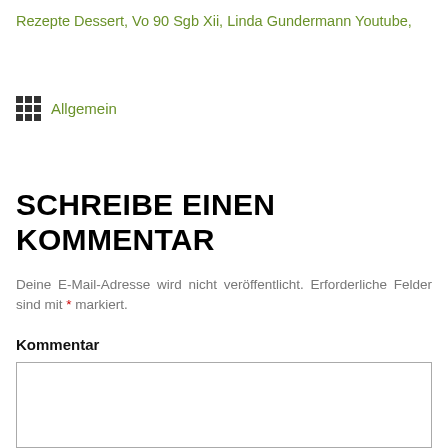Rezepte Dessert, Vo 90 Sgb Xii, Linda Gundermann Youtube,
Allgemein
SCHREIBE EINEN KOMMENTAR
Deine E-Mail-Adresse wird nicht veröffentlicht. Erforderliche Felder sind mit * markiert.
Kommentar